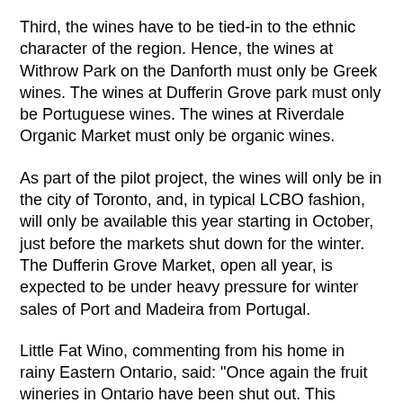Third, the wines have to be tied-in to the ethnic character of the region. Hence, the wines at Withrow Park on the Danforth must only be Greek wines. The wines at Dufferin Grove park must only be Portuguese wines. The wines at Riverdale Organic Market must only be organic wines.
As part of the pilot project, the wines will only be in the city of Toronto, and, in typical LCBO fashion, will only be available this year starting in October, just before the markets shut down for the winter. The Dufferin Grove Market, open all year, is expected to be under heavy pressure for winter sales of Port and Madeira from Portugal.
Little Fat Wino, commenting from his home in rainy Eastern Ontario, said: "Once again the fruit wineries in Ontario have been shut out. This business of selling at Farmers Markets was originally OUR idea -- it was stolen from us by the government looking for additional revenue streams."  It was pointed out to him that all Ontario wines, no matter what their origin, were shut out. An unnamed source in the LCBO Research Department responded: "We don't consider Ontario wines and fruit wines to be real wines exhibiting terroir. These Ontario wines can be made